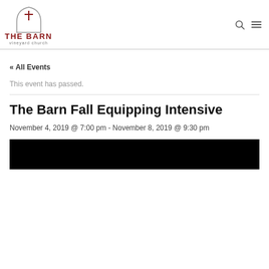[Figure (logo): The Barn Vineyard Church logo with an arch and cross symbol above the text 'THE BARN vineyard church']
« All Events
This event has passed.
The Barn Fall Equipping Intensive
November 4, 2019 @ 7:00 pm - November 8, 2019 @ 9:30 pm
[Figure (photo): Black image placeholder at bottom of page]